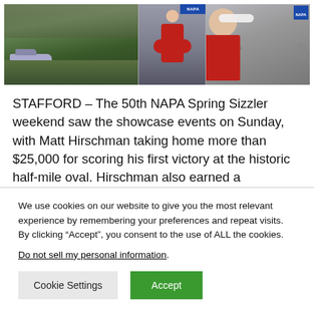[Figure (photo): Three-panel photo strip: left panel shows stock cars racing on a green oval track with crowds in stands; center panel shows a driver in a red firesuit celebrating with arms raised; right panel shows the winner holding a trophy with a white flower wreath, wearing a red Insinger Performance shirt, with NAPA signage in background.]
STAFFORD – The 50th NAPA Spring Sizzler weekend saw the showcase events on Sunday, with Matt Hirschman taking home more than $25,000 for scoring his first victory at the historic half-mile oval. Hirschman also earned a
We use cookies on our website to give you the most relevant experience by remembering your preferences and repeat visits. By clicking “Accept”, you consent to the use of ALL the cookies.
Do not sell my personal information.
Cookie Settings  Accept